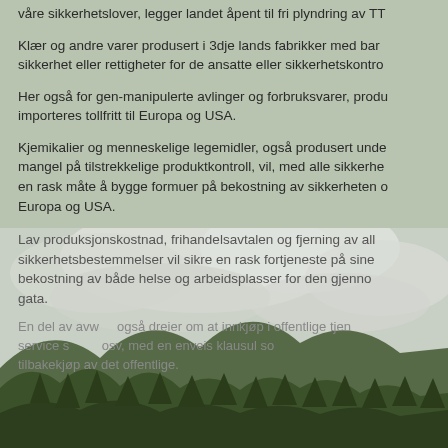våre sikkerhetslover, legger landet åpent til fri plyndring av TT
Klær og andre varer produsert i 3dje lands fabrikker med barn sikkerhet eller rettigheter for de ansatte eller sikkerhetskontro
Her også for gen-manipulerte avlinger og forbruksvarer, produ importeres tollfritt til Europa og USA.
Kjemikalier og menneskelige legemidler, også produsert unde mangel på tilstrekkelige produktkontroll, vil, med alle sikkerhе en rask måte å bygge formuer på bekostning av sikkerheten o Europa og USA.
Lav produksjonskostnad, frihandelsavtalen og fjerning av all sikkerhetsbestemmelser vil sikre en rask fortjeneste på sine bekostning av både helse og arbeidsplasser for den gjenno gata.
En del av avw også dreier om at innkjøp i offentlige tjen service s osv, med en enveis klausul so tilbakekjøp av det offentlige.